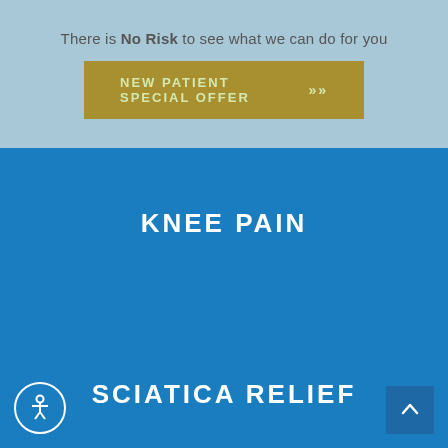There is No Risk to see what we can do for you
NEW PATIENT SPECIAL OFFER >>
KNEE PAIN
SCIATICA RELIEF
[Figure (illustration): Accessibility icon (person in circle) bottom left]
[Figure (illustration): Scroll to top button with caret/chevron up arrow bottom right]